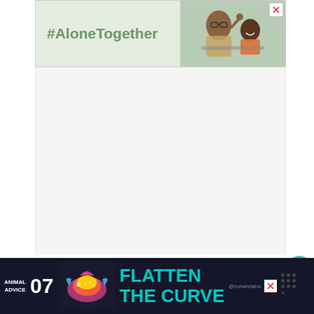[Figure (screenshot): Advertisement banner with '#AloneTogether' hashtag text on light green background, with photo of man and child on right side, and X close button in top right corner]
[Figure (screenshot): Large empty white/light gray content area below the top advertisement]
[Figure (screenshot): Teal circular heart/like button floating on right side]
[Figure (screenshot): White circular button showing count of 2]
[Figure (screenshot): White circular share button with share icon]
Plecostomus Fish
[Figure (screenshot): Bottom dark advertisement bar for 'Animal Advice 07' with 'FLATTEN THE CURVE' text in teal, decorative fish art, @rohandaho social tag, X close button, and dots menu icon with degree symbol]